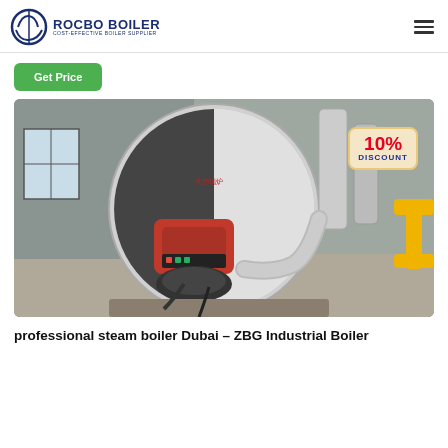ROCBO BOILER — COST-EFFECTIVE BOILER SUPPLIER
Get Price
[Figure (photo): Industrial steam boiler in a factory setting. Large cylindrical white-and-black boiler with red burner unit and silver exhaust pipes visible. A 10% DISCOUNT badge is overlaid on the top-right of the image.]
professional steam boiler Dubai – ZBG Industrial Boiler